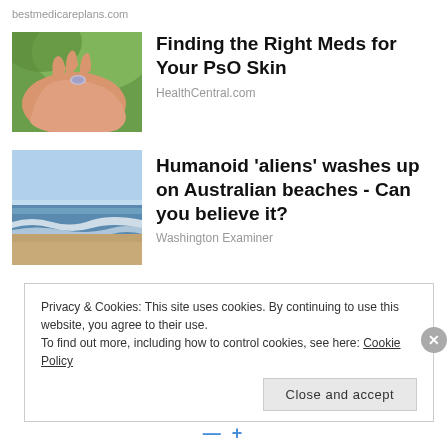bestmedicareplans.com
Finding the Right Meds for Your PsO Skin
HealthCentral.com
[Figure (photo): Hand holding small pill or medication]
Humanoid 'aliens' washes up on Australian beaches - Can you believe it?
Washington Examiner
[Figure (photo): Beach scene with ocean waves and sandy shore]
Privacy & Cookies: This site uses cookies. By continuing to use this website, you agree to their use. To find out more, including how to control cookies, see here: Cookie Policy
Close and accept